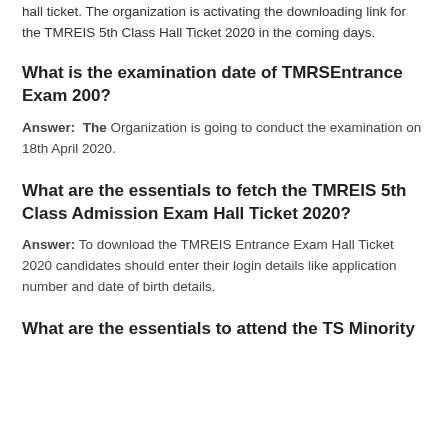Answer: Candidates can refer to the official site and download the hall ticket. The organization is activating the downloading link for the TMREIS 5th Class Hall Ticket 2020 in the coming days.
What is the examination date of TMRSEntrance Exam 200?
Answer: The Organization is going to conduct the examination on 18th April 2020.
What are the essentials to fetch the TMREIS 5th Class Admission Exam Hall Ticket 2020?
Answer: To download the TMREIS Entrance Exam Hall Ticket 2020 candidates should enter their login details like application number and date of birth details.
What are the essentials to attend the TS Minority